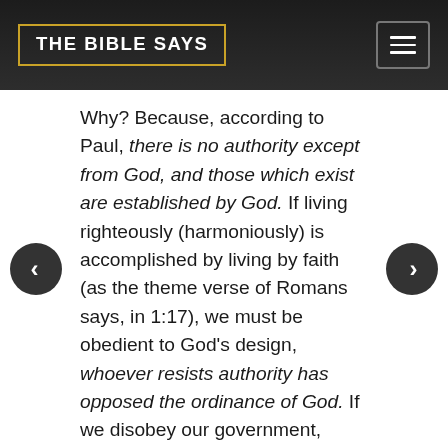THE BIBLE SAYS
Why? Because, according to Paul, there is no authority except from God, and those which exist are established by God. If living righteously (harmoniously) is accomplished by living by faith (as the theme verse of Romans says, in 1:17), we must be obedient to God's design, whoever resists authority has opposed the ordinance of God. If we disobey our government, we're disobeying God, and they who have opposed will receive condemnation upon themselves, they will be punished for it. It's God's will that we submit to authority.